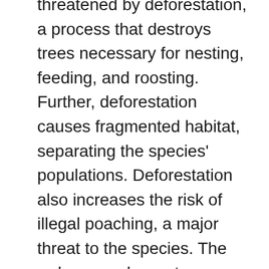threatened by deforestation, a process that destroys trees necessary for nesting, feeding, and roosting. Further, deforestation causes fragmented habitat, separating the species' populations. Deforestation also increases the risk of illegal poaching, a major threat to the species. The red-crowned parrot population in particular is threatened by deforestation and encroaching deforestation.
The red-crowned parrot is listed as a